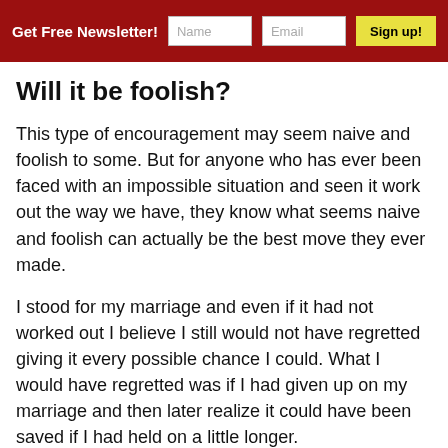Get Free Newsletter! | Name | Email | Sign up!
Will it be foolish?
This type of encouragement may seem naive and foolish to some. But for anyone who has ever been faced with an impossible situation and seen it work out the way we have, they know what seems naive and foolish can actually be the best move they ever made.
I stood for my marriage and even if it had not worked out I believe I still would not have regretted giving it every possible chance I could. What I would have regretted was if I had given up on my marriage and then later realize it could have been saved if I had held on a little longer.